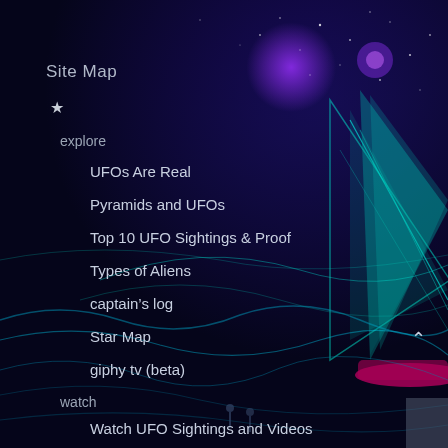[Figure (illustration): Dark night sky / space background with stars, teal and cyan abstract wave-like energy lines and a sailboat silhouette with glowing teal sail and magenta hull on the right side of the image]
Site Map
★
explore
UFOs Are Real
Pyramids and UFOs
Top 10 UFO Sightings & Proof
Types of Aliens
captain's log
Star Map
giphy tv (beta)
watch
Watch UFO Sightings and Videos
ISS HD Earth Viewing Experiment Live Feed